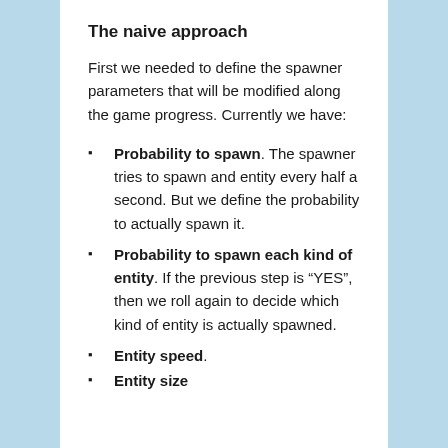The naive approach
First we needed to define the spawner parameters that will be modified along the game progress. Currently we have:
Probability to spawn. The spawner tries to spawn and entity every half a second. But we define the probability to actually spawn it.
Probability to spawn each kind of entity. If the previous step is “YES”, then we roll again to decide which kind of entity is actually spawned.
Entity speed.
Entity size.